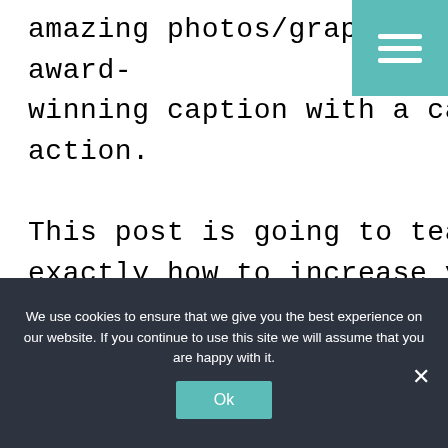amazing photos/graphics and an award-winning caption with a call to action.

This post is going to teach you exactly how to increase your organic engagement on Instagram.
[Figure (photo): Partial view of a decorative image at the bottom of the main content area, partially obscured by the cookie banner.]
We use cookies to ensure that we give you the best experience on our website. If you continue to use this site we will assume that you are happy with it.